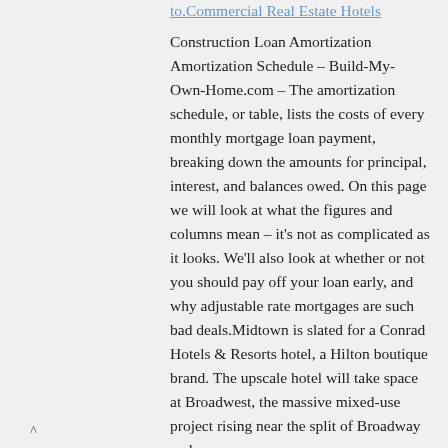to.Commercial Real Estate Hotels
Construction Loan Amortization Amortization Schedule – Build-My-Own-Home.com – The amortization schedule, or table, lists the costs of every monthly mortgage loan payment, breaking down the amounts for principal, interest, and balances owed. On this page we will look at what the figures and columns mean – it's not as complicated as it looks. We'll also look at whether or not you should pay off your loan early, and why adjustable rate mortgages are such bad deals.Midtown is slated for a Conrad Hotels & Resorts hotel, a Hilton boutique brand. The upscale hotel will take space at Broadwest, the massive mixed-use project rising near the split of Broadway and.
^